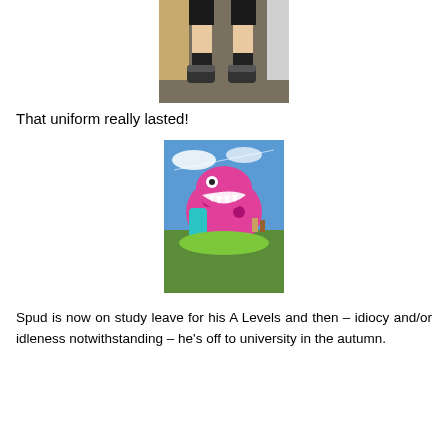[Figure (photo): Photo showing the lower half of a person wearing black shorts, black socks and Converse sneakers, standing on a carpeted floor indoors.]
That uniform really lasted!
[Figure (photo): Photo of a large pink inflatable dinosaur bounce castle/slide at an outdoor event on a sunny day with green grass and blue sky visible.]
Spud is now on study leave for his A Levels and then – idiocy and/or idleness notwithstanding – he's off to university in the autumn.